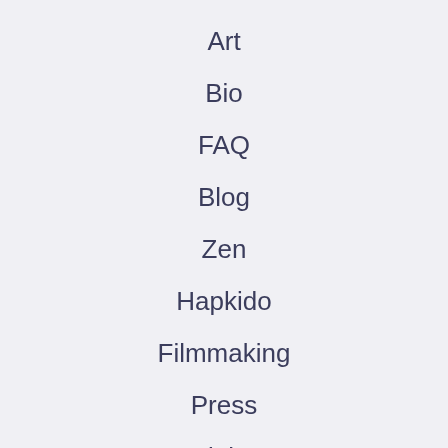Art
Bio
FAQ
Blog
Zen
Hapkido
Filmmaking
Press
Links